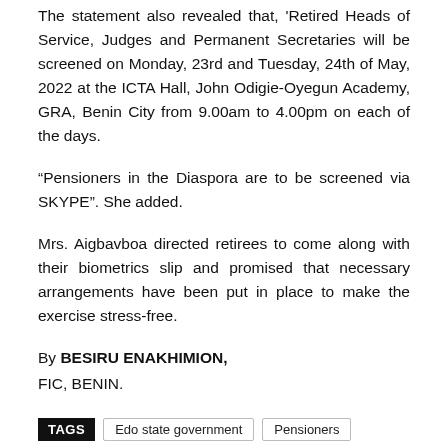The statement also revealed that, 'Retired Heads of Service, Judges and Permanent Secretaries will be screened on Monday, 23rd and Tuesday, 24th of May, 2022 at the ICTA Hall, John Odigie-Oyegun Academy, GRA, Benin City from 9.00am to 4.00pm on each of the days.
“Pensioners in the Diaspora are to be screened via SKYPE”. She added.
Mrs. Aigbavboa directed retirees to come along with their biometrics slip and promised that necessary arrangements have been put in place to make the exercise stress-free.
By BESIRU ENAKHIMION,
FIC, BENIN.
TAGS  Edo state government  Pensioners